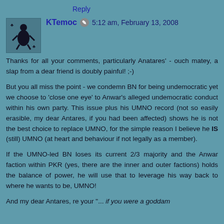Reply
KTemoc 🖊 5:12 am, February 13, 2008
Thanks for all your comments, particularly Anatares' - ouch matey, a slap from a dear friend is doubly painful! ;-)
But you all miss the point - we condemn BN for being undemocratic yet we choose to 'close one eye' to Anwar's alleged undemocratic conduct within his own party. This issue plus his UMNO record (not so easily erasible, my dear Antares, if you had been affected) shows he is not the best choice to replace UMNO, for the simple reason I believe he IS (still) UMNO (at heart and behaviour if not legally as a member).
If the UMNO-led BN loses its current 2/3 majority and the Anwar faction within PKR (yes, there are the inner and outer factions) holds the balance of power, he will use that to leverage his way back to where he wants to be, UMNO!
And my dear Antares, re your "... if you were a goddam